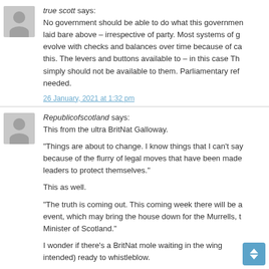true scott says:
No government should be able to do what this government laid bare above – irrespective of party. Most systems of government evolve with checks and balances over time because of cases like this. The levers and buttons available to – in this case The… simply should not be available to them. Parliamentary reform needed.
26 January, 2021 at 1:32 pm
Republicofscotland says:
This from the ultra BritNat Galloway.
“Things are about to change. I know things that I can’t say because of the flurry of legal moves that have been made by leaders to protect themselves.”
This as well.
“The truth is coming out. This coming week there will be a event, which may bring the house down for the Murrells, … Minister of Scotland.”
I wonder if there’s a BritNat mole waiting in the wings (pun intended) ready to whistleblow.